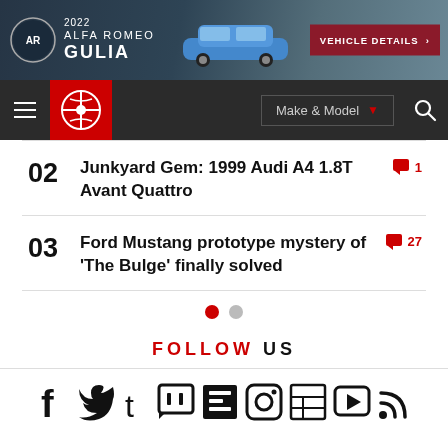[Figure (screenshot): Alfa Romeo Gulia 2022 advertisement banner with logo, car image and vehicle details button]
[Figure (screenshot): Car website navigation bar with hamburger menu, Carbuzz logo, Make & Model dropdown, and search icon]
02 Junkyard Gem: 1999 Audi A4 1.8T Avant Quattro [1 comment]
03 Ford Mustang prototype mystery of 'The Bulge' finally solved [27 comments]
FOLLOW US
[Figure (screenshot): Social media icons row: Facebook, Twitter, Tumblr, Twitch, Flipboard, Instagram, News, Video, RSS]